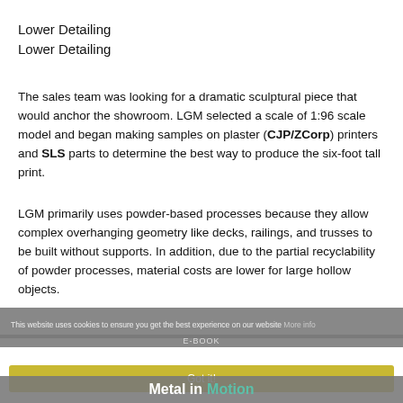Lower Detailing
Lower Detailing
The sales team was looking for a dramatic sculptural piece that would anchor the showroom. LGM selected a scale of 1:96 scale model and began making samples on plaster (CJP/ZCorp) printers and SLS parts to determine the best way to produce the six-foot tall print.
LGM primarily uses powder-based processes because they allow complex overhanging geometry like decks, railings, and trusses to be built without supports. In addition, due to the partial recyclability of powder processes, material costs are lower for large hollow objects.
This website uses cookies to ensure you get the best experience on our website More info
E-BOOK
Got it!
Metal in Motion